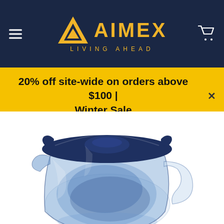AIMEX LIVING AHEAD
20% off site-wide on orders above $100 | Winter Sale
[Figure (photo): Close-up of a blue transparent water filter pitcher with navy lid, shown from a slightly elevated angle on a white background.]